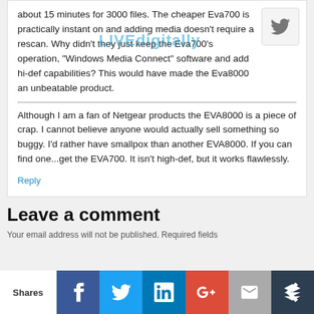about 15 minutes for 3000 files. The cheaper Eva700 is practically instant on and adding media doesn't require a rescan. Why didn't they just keep the Eva700's operation, "Windows Media Connect" software and add hi-def capabilities? This would have made the Eva8000 an unbeatable product.
Although I am a fan of Netgear products the EVA8000 is a piece of crap. I cannot believe anyone would actually sell something so buggy. I'd rather have smallpox than another EVA8000. If you can find one...get the EVA700. It isn't high-def, but it works flawlessly.
Reply
Leave a comment
Your email address will not be published. Required fields